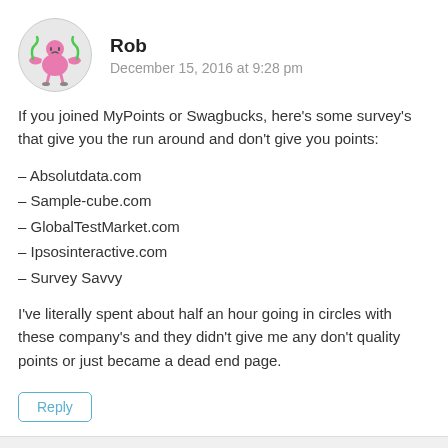[Figure (illustration): Avatar image of Rob — a cartoon pink figure on a light grey circular background]
Rob
December 15, 2016 at 9:28 pm
If you joined MyPoints or Swagbucks, here’s some survey’s that give you the run around and don’t give you points:
– Absolutdata.com
– Sample-cube.com
– GlobalTestMarket.com
– Ipsosinteractive.com
– Survey Savvy
I’ve literally spent about half an hour going in circles with these company’s and they didn’t give me any don’t quality points or just became a dead end page.
Reply